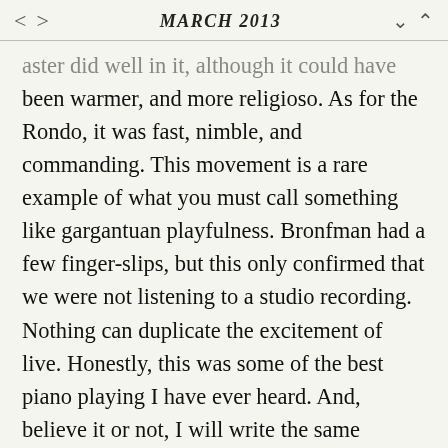< >   MARCH 2013   ∨ ∧
…aster did well in it, although it could have been warmer, and more religioso. As for the Rondo, it was fast, nimble, and commanding. This movement is a rare example of what you must call something like gargantuan playfulness. Bronfman had a few finger-slips, but this only confirmed that we were not listening to a studio recording. Nothing can duplicate the excitement of live. Honestly, this was some of the best piano playing I have ever heard. And, believe it or not, I will write the same sentence a little later in this chronicle.